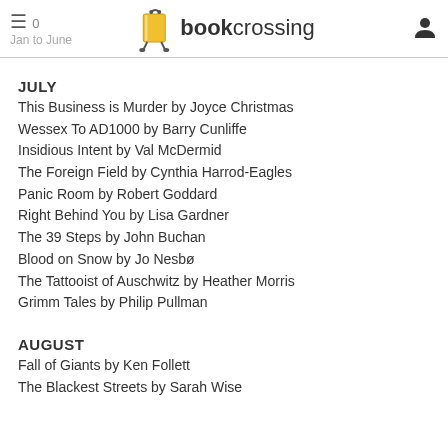bookcrossing
Jan to June
JULY
This Business is Murder by Joyce Christmas
Wessex To AD1000 by Barry Cunliffe
Insidious Intent by Val McDermid
The Foreign Field by Cynthia Harrod-Eagles
Panic Room by Robert Goddard
Right Behind You by Lisa Gardner
The 39 Steps by John Buchan
Blood on Snow by Jo Nesbø
The Tattooist of Auschwitz by Heather Morris
Grimm Tales by Philip Pullman
AUGUST
Fall of Giants by Ken Follett
The Blackest Streets by Sarah Wise